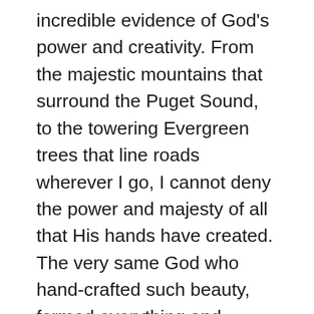incredible evidence of God's power and creativity. From the majestic mountains that surround the Puget Sound, to the towering Evergreen trees that line roads wherever I go, I cannot deny the power and majesty of all that His hands have created. The very same God who hand-crafted such beauty, formed everything and everyone that draws breath. To look in the face of others, is to witness the handiwork of God. Knowing that is the very beginning of walking the way that we are called to walk. If we see and recognize the beauty and value in all that God has made, we cannot help but want to love as He loves us. May we take pause and breathe in the goodness of all that God's hands have made